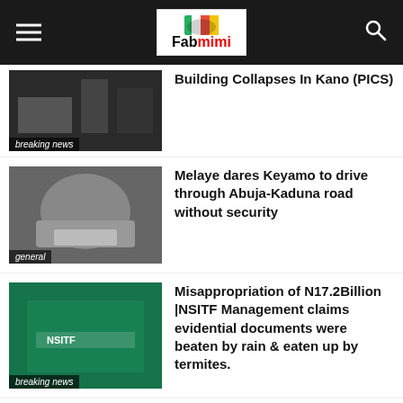Fabmimi
Building Collapses In Kano (PICS)
Melaye dares Keyamo to drive through Abuja-Kaduna road without security
Misappropriation of N17.2Billion |NSITF Management claims evidential documents were beaten by rain & eaten up by termites.
Hardship doesn’t know tribe, religion, follow leaders with verifiable track records – Peter Obi